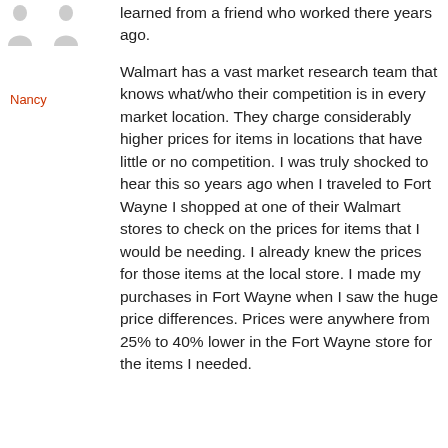[Figure (illustration): Two small avatar silhouette icons side by side]
Nancy
learned from a friend who worked there years ago.

Walmart has a vast market research team that knows what/who their competition is in every market location. They charge considerably higher prices for items in locations that have little or no competition. I was truly shocked to hear this so years ago when I traveled to Fort Wayne I shopped at one of their Walmart stores to check on the prices for items that I would be needing. I already knew the prices for those items at the local store. I made my purchases in Fort Wayne when I saw the huge price differences. Prices were anywhere from 25% to 40% lower in the Fort Wayne store for the items I needed.